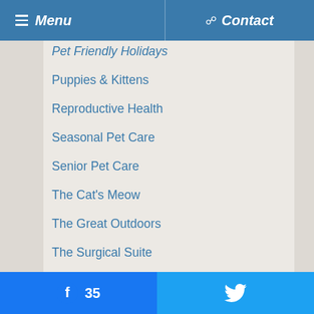Menu | Contact
Pet Friendly Holidays
Puppies & Kittens
Reproductive Health
Seasonal Pet Care
Senior Pet Care
The Cat's Meow
The Great Outdoors
The Surgical Suite
Training & Behavior
You & Your Pet
35 | Twitter share